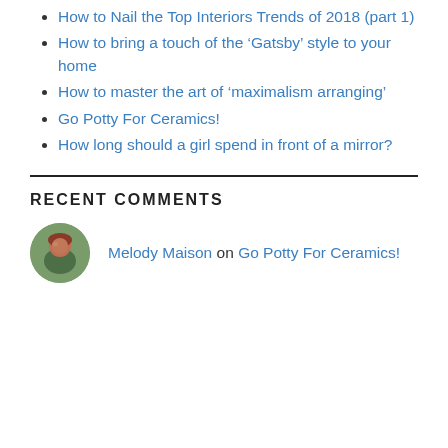How to Nail the Top Interiors Trends of 2018 (part 1)
How to bring a touch of the ‘Gatsby’ style to your home
How to master the art of ‘maximalism arranging’
Go Potty For Ceramics!
How long should a girl spend in front of a mirror?
RECENT COMMENTS
Melody Maison on Go Potty For Ceramics!